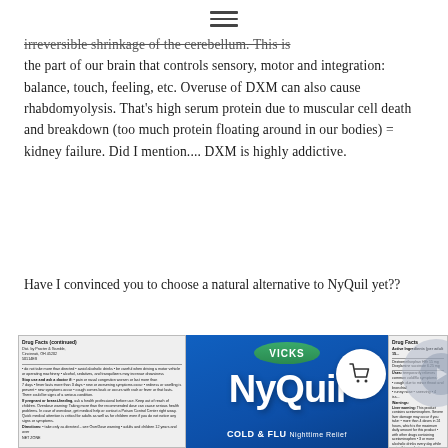≡
irreversible shrinkage of the cerebellum. This is the part of our brain that controls sensory, motor and integration: balance, touch, feeling, etc. Overuse of DXM can also cause rhabdomyolysis. That's high serum protein due to muscular cell death and breakdown (too much protein floating around in our bodies) = kidney failure. Did I mention.... DXM is highly addictive.
Have I convinced you to choose a natural alternative to NyQuil yet??
[Figure (photo): NyQuil Cold & Flu Nighttime Relief product box showing Drug Facts label on the left and right panels, and the central blue Vicks NyQuil branding panel in the middle. A shopping cart icon and navigation arrow are overlaid on the image.]